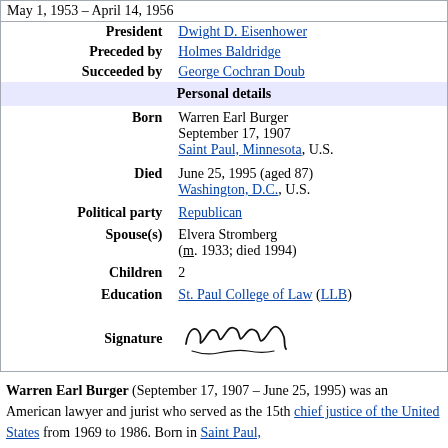| May 1, 1953 – April 14, 1956 |  |
| President | Dwight D. Eisenhower |
| Preceded by | Holmes Baldridge |
| Succeeded by | George Cochran Doub |
| Personal details |  |
| Born | Warren Earl Burger
September 17, 1907
Saint Paul, Minnesota, U.S. |
| Died | June 25, 1995 (aged 87)
Washington, D.C., U.S. |
| Political party | Republican |
| Spouse(s) | Elvera Stromberg (m. 1933; died 1994) |
| Children | 2 |
| Education | St. Paul College of Law (LLB) |
| Signature | [signature image] |
Warren Earl Burger (September 17, 1907 – June 25, 1995) was an American lawyer and jurist who served as the 15th chief justice of the United States from 1969 to 1986. Born in Saint Paul,